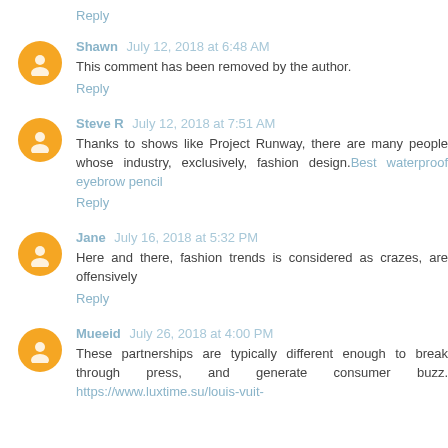Reply
Shawn  July 12, 2018 at 6:48 AM
This comment has been removed by the author.
Reply
Steve R  July 12, 2018 at 7:51 AM
Thanks to shows like Project Runway, there are many people whose industry, exclusively, fashion design. Best waterproof eyebrow pencil
Reply
Jane  July 16, 2018 at 5:32 PM
Here and there, fashion trends is considered as crazes, are offensively
Reply
Mueeid  July 26, 2018 at 4:00 PM
These partnerships are typically different enough to break through press, and generate consumer buzz. https://www.luxtime.su/louis-vuit-